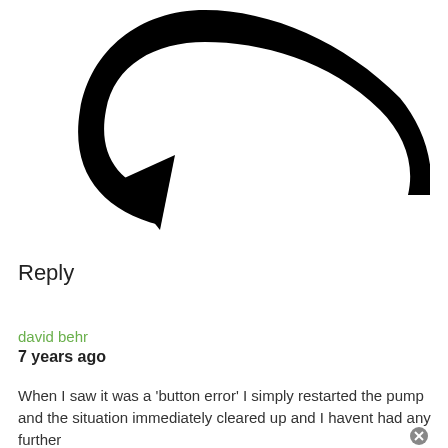[Figure (illustration): Large black curved reply arrow icon pointing left and down]
Reply
david behr
7 years ago
When I saw it was a ‘button error’ I simply restarted the pump and the situation immediately cleared up and I havent had any further